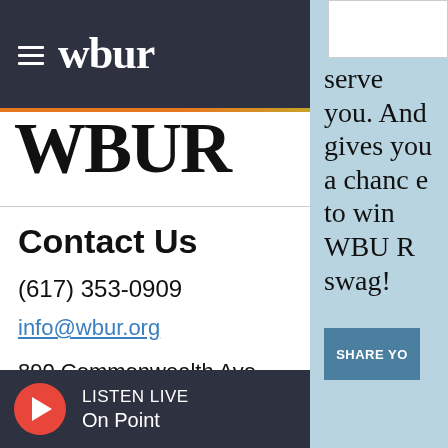wbur
[Figure (logo): Large WBUR logo text partially cropped]
Contact Us
(617) 353-0909
info@wbur.org
890 Commonwealth Ave.
Boston, MA 02215
serve you. And gives you a chance to win WBUR swag!
LISTEN LIVE
On Point